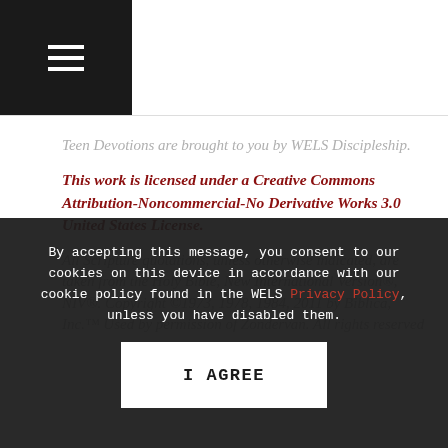≡ (hamburger menu)
Teen Devotions are brought to you by WELS Discipleship.
This work is licensed under a Creative Commons Attribution-Noncommercial-No Derivative Works 3.0 United States License.
All Scripture quotations, unless otherwise indicated, are taken from the Holy Bible, New International Version®, NIV®. Copyright ©1973, 1978, 1984, 2011 by Biblica, Inc.™ Used by permission of Zondervan. All rights reserved
By accepting this message, you consent to our cookies on this device in accordance with our cookie policy found in the WELS Privacy Policy, unless you have disabled them.
I AGREE